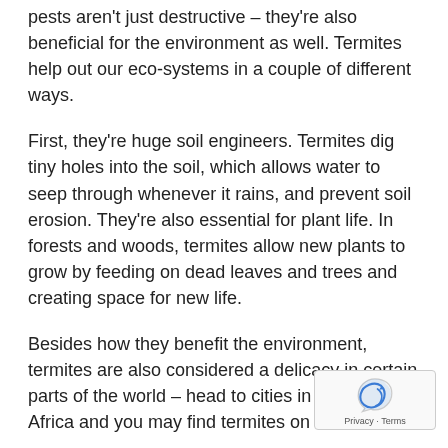pests aren't just destructive – they're also beneficial for the environment as well. Termites help out our eco-systems in a couple of different ways.
First, they're huge soil engineers. Termites dig tiny holes into the soil, which allows water to seep through whenever it rains, and prevent soil erosion. They're also essential for plant life. In forests and woods, termites allow new plants to grow by feeding on dead leaves and trees and creating space for new life.
Besides how they benefit the environment, termites are also considered a delicacy in certain parts of the world – head to cities in Asia or Africa and you may find termites on the menu.
Still, while many termites may do wonders for the ecosystem or look great on a plate, that doesn't mean